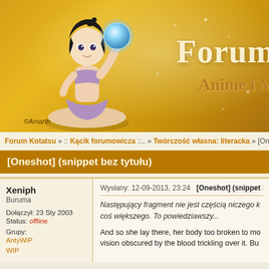[Figure (illustration): Anime forum banner with golden background, anime girl character holding a glowing blue orb, forum title text 'Forum' and subtitle 'Anime i M' visible, copyright mark '©Amarth']
Forum Kotatsu » :: Kącik forumowicza ::.. » Twórczość własna: literacka » [Ones
[Oneshot] (snippet bez tytułu)
Xeniph
Buruma

Dołączył: 23 Sty 2003
Status: offline

Grupy:
AntyWiP
WIP
Wysłany: 12-09-2013, 23:24  [Oneshot] (snippet bez
Następujący fragment nie jest częścią niczego k coś większego. To powiedziawszy...

And so she lay there, her body too broken to mo vision obscured by the blood trickling over it. Bu